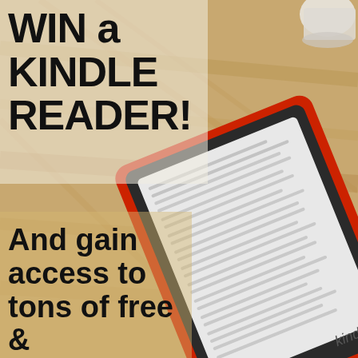[Figure (photo): A Kindle e-reader with a red case lying on a wooden surface, displaying text on its screen. A white cup is partially visible in the top right corner.]
WIN a KINDLE READER!
And gain access to tons of free & discounted books!